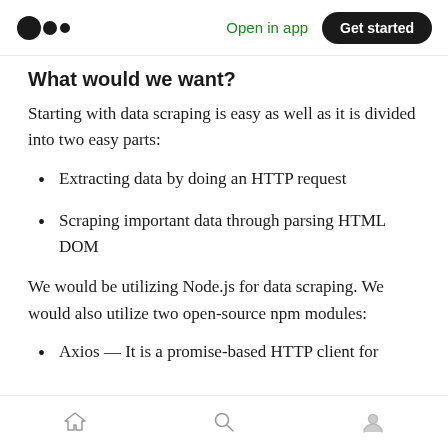Medium logo | Open in app | Get started
What would we want?
Starting with data scraping is easy as well as it is divided into two easy parts:
Extracting data by doing an HTTP request
Scraping important data through parsing HTML DOM
We would be utilizing Node.js for data scraping. We would also utilize two open-source npm modules:
Axios — It is a promise-based HTTP client for
Home | Search | Profile